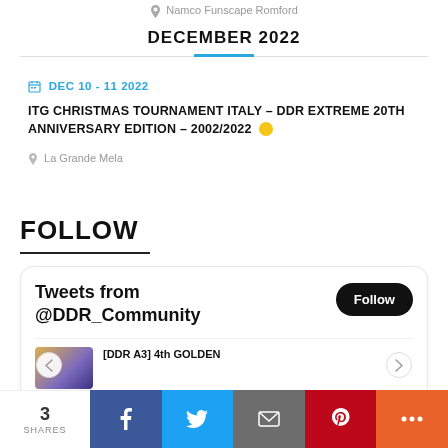Namco Funscape Romford
DECEMBER 2022
DEC 10 - 11 2022
ITG CHRISTMAS TOURNAMENT ITALY – DDR EXTREME 20TH ANNIVERSARY EDITION – 2002/2022
La Grande Mela
FOLLOW
Tweets from @DDR_Community
[DDR A3] 4th GOLDEN
3 SHARES